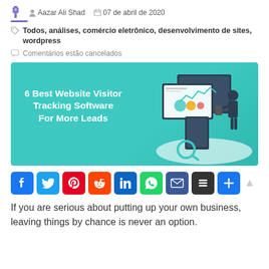Aazar Ali Shad   07 de abril de 2020
Todos, análises, comércio eletrônico, desenvolvimento de sites, wordpress
Comentários estão cancelados
[Figure (illustration): Banner image with teal background showing '6 Best Website Visitor Tracking Software For More Leads' with an illustration of analytics dashboards and a person]
[Figure (infographic): Social sharing icons row: Facebook, Twitter, Pinterest, Reddit, LinkedIn, WhatsApp, Email, Buffer, Share plus]
If you are serious about putting up your own business, leaving things by chance is never an option.